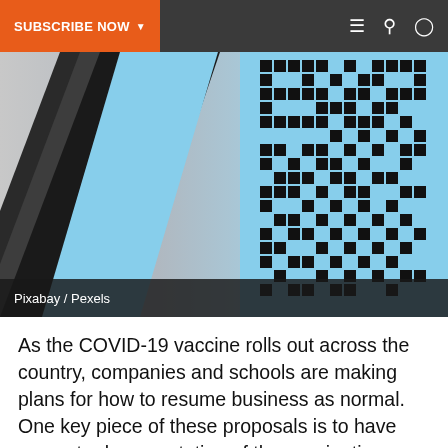SUBSCRIBE NOW
[Figure (photo): A smartphone displaying a QR code on a light blue background, photographed at an angle on a light gray surface.]
Pixabay / Pexels
As the COVID-19 vaccine rolls out across the country, companies and schools are making plans for how to resume business as normal. One key piece of these proposals is to have accurate documentation of the vaccination. Major healthcare organizations like the Mayo Clinic and technological leaders such as Microsoft have joined forces to create the Vaccine Credential